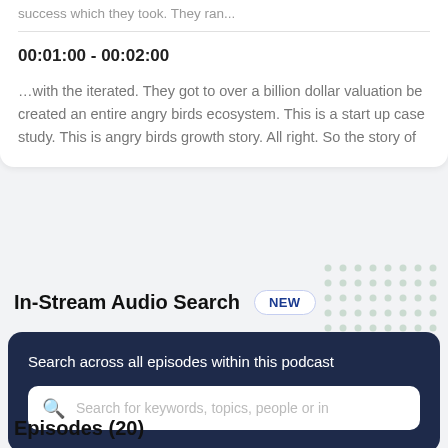success which they took. They ran...
00:01:00 - 00:02:00
…with the iterated. They got to over a billion dollar valuation be created an entire angry birds ecosystem. This is a start up case study. This is angry birds growth story. All right. So the story of
In-Stream Audio Search
NEW
Search across all episodes within this podcast
Search for keywords, topics, people or in
Episodes (20)